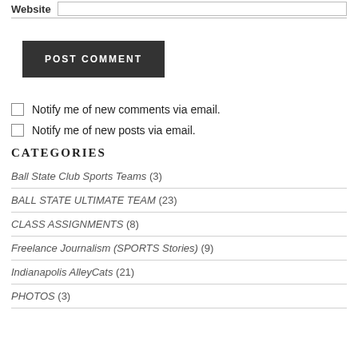Website [input field]
POST COMMENT
Notify me of new comments via email.
Notify me of new posts via email.
CATEGORIES
Ball State Club Sports Teams (3)
BALL STATE ULTIMATE TEAM (23)
CLASS ASSIGNMENTS (8)
Freelance Journalism (SPORTS Stories) (9)
Indianapolis AlleyCats (21)
PHOTOS (3)